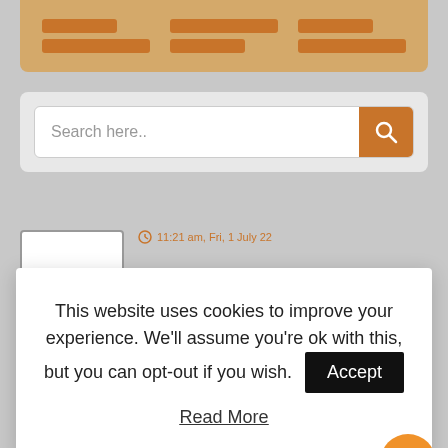[Figure (screenshot): Top card with three groups of orange/brown horizontal bars on a tan background]
[Figure (screenshot): Search bar with text 'Search here..' and orange search button with magnifying glass icon]
This website uses cookies to improve your experience. We'll assume you're ok with this, but you can opt-out if you wish.
Accept
Read More
[Figure (screenshot): Thumbnail image of an article with small text and an arrow]
11:21 am, Fri, 1 July 22
[Figure (screenshot): Thumbnail for 'Cutting and Pasting Activities and Tools for Preschool Children' article]
Cutting and Pasting for Preschool Children
7:59 pm, Wed, 29 June 22